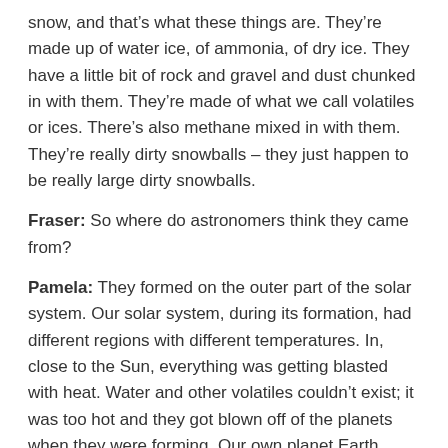snow, and that's what these things are. They're made up of water ice, of ammonia, of dry ice. They have a little bit of rock and gravel and dust chunked in with them. They're made of what we call volatiles or ices. There's also methane mixed in with them. They're really dirty snowballs – they just happen to be really large dirty snowballs.
Fraser: So where do astronomers think they came from?
Pamela: They formed on the outer part of the solar system. Our solar system, during its formation, had different regions with different temperatures. In, close to the Sun, everything was getting blasted with heat. Water and other volatiles couldn't exist; it was too hot and they got blown off of the planets when they were forming. Our own planet Earth didn't have water initially, we had to wait until we got bombarded by comets to get our water back.